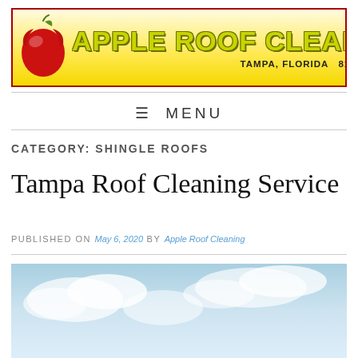[Figure (logo): Apple Roof Cleaning banner logo with red apple icon, yellow gradient background, red border. Text: APPLE ROOF CLEANING, TAMPA, FLORIDA 813-655-8777]
≡ MENU
CATEGORY: SHINGLE ROOFS
Tampa Roof Cleaning Service
PUBLISHED ON May 6, 2020 by Apple Roof Cleaning
[Figure (photo): Partial photo showing blue sky with clouds, bottom portion of page]